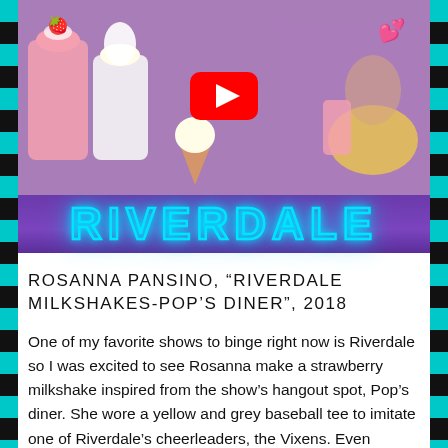[Figure (screenshot): YouTube video thumbnail for Rosanna Pansino Riverdale Milkshakes Pop's Diner video, showing milkshakes, ice cream cone, and a woman in yellow top, with the Riverdale logo banner below in purple with neon blue letters.]
ROSANNA PANSINO, “RIVERDALE MILKSHAKES-POP’S DINER”, 2018
One of my favorite shows to binge right now is Riverdale so I was excited to see Rosanna make a strawberry milkshake inspired from the show’s hangout spot, Pop’s diner. She wore a yellow and grey baseball tee to imitate one of Riverdale’s cheerleaders, the Vixens. Even though she took a